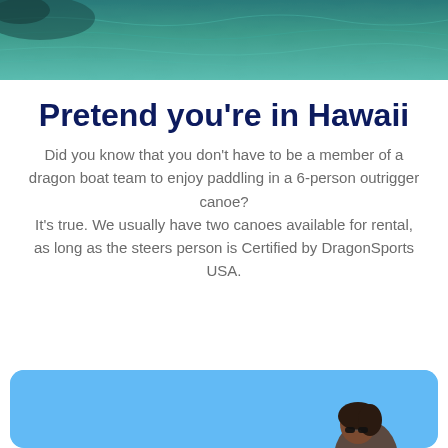[Figure (photo): Aerial or distant ocean/water photo in teal-blue tones forming a banner at the top of the page]
Pretend you're in Hawaii
Did you know that you don't have to be a member of a dragon boat team to enjoy paddling in a 6-person outrigger canoe? It's true. We usually have two canoes available for rental, as long as the steers person is Certified by DragonSports USA.
[Figure (photo): Photo of a person against a bright blue sky, shown in a rounded-corner card at the bottom of the page]